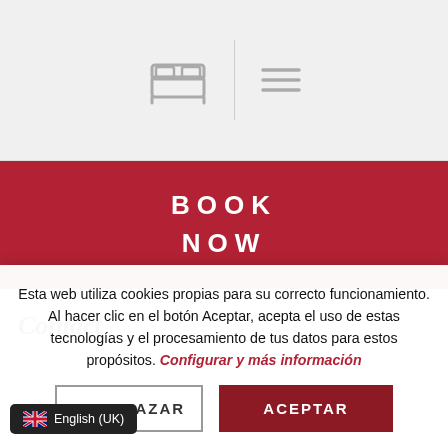[Figure (screenshot): Hotel website header with bed icon and hamburger menu icon separated by a vertical divider line]
BOOK NOW
Contact
Esta web utiliza cookies propias para su correcto funcionamiento. Al hacer clic en el botón Aceptar, acepta el uso de estas tecnologías y el procesamiento de tus datos para estos propósitos. Configurar y más información
RECHAZAR
ACEPTAR
English (UK)